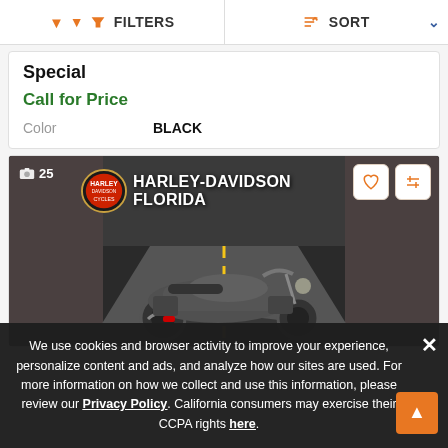FILTERS  SORT
Special
Call for Price
Color  BLACK
[Figure (photo): Harley-Davidson Florida dealership banner with motorcycle on open road background. Shows '25' photo count badge, heart and compare icons, Harley-Davidson logo, and text 'HARLEY-DAVIDSON FLORIDA'.]
We use cookies and browser activity to improve your experience, personalize content and ads, and analyze how our sites are used. For more information on how we collect and use this information, please review our Privacy Policy. California consumers may exercise their CCPA rights here.